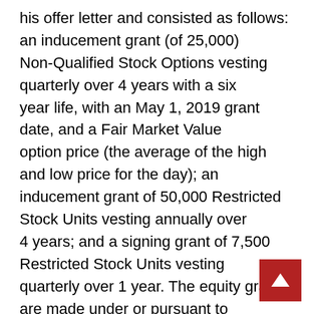his offer letter and consisted as follows: an inducement grant of 25,000 Non-Qualified Stock Options vesting quarterly over 4 years with a six year life, with an May 1, 2019 grant date, and a Fair Market Value option price (the average of the high and low price for the day); an inducement grant of 50,000 Restricted Stock Units vesting annually over 4 years; and a signing grant of 7,500 Restricted Stock Units vesting quarterly over 1 year. The equity grants are made under or pursuant to the terms of the Data I/O Corporation 2000 Stock Incentive Compensation Plan.